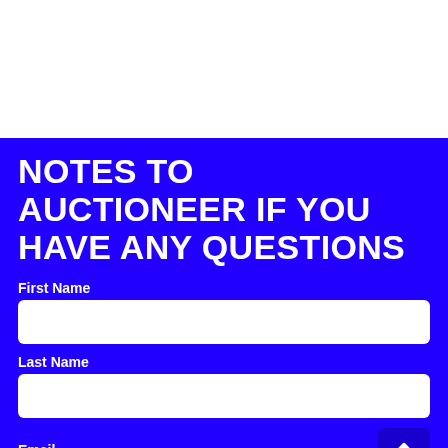NOTES TO AUCTIONEER IF YOU HAVE ANY QUESTIONS
First Name
Last Name
Email
johndoe@gmail.com (your email)
Phone